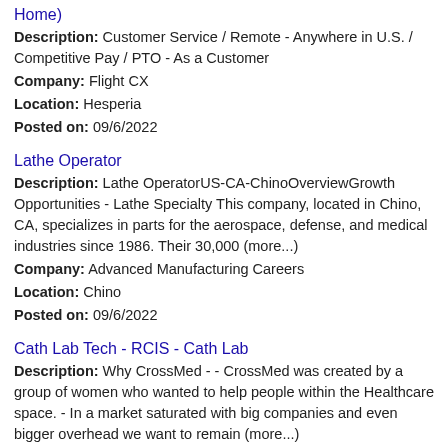Home)
Description: Customer Service / Remote - Anywhere in U.S. / Competitive Pay / PTO - As a Customer
Company: Flight CX
Location: Hesperia
Posted on: 09/6/2022
Lathe Operator
Description: Lathe OperatorUS-CA-ChinoOverviewGrowth Opportunities - Lathe Specialty This company, located in Chino, CA, specializes in parts for the aerospace, defense, and medical industries since 1986. Their 30,000 (more...)
Company: Advanced Manufacturing Careers
Location: Chino
Posted on: 09/6/2022
Cath Lab Tech - RCIS - Cath Lab
Description: Why CrossMed - - CrossMed was created by a group of women who wanted to help people within the Healthcare space. - In a market saturated with big companies and even bigger overhead we want to remain (more...)
Company: CrossMed Healthcare
Location: Chino
Posted on: 09/6/2022